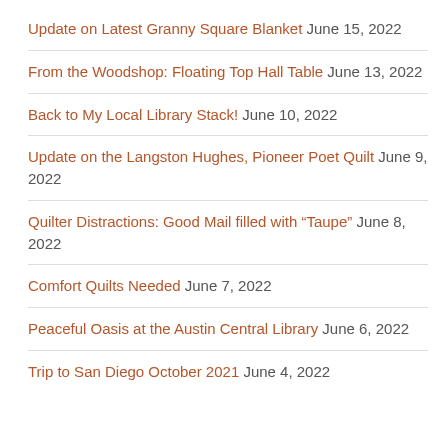Update on Latest Granny Square Blanket June 15, 2022
From the Woodshop: Floating Top Hall Table June 13, 2022
Back to My Local Library Stack! June 10, 2022
Update on the Langston Hughes, Pioneer Poet Quilt June 9, 2022
Quilter Distractions: Good Mail filled with “Taupe” June 8, 2022
Comfort Quilts Needed June 7, 2022
Peaceful Oasis at the Austin Central Library June 6, 2022
Trip to San Diego October 2021 June 4, 2022